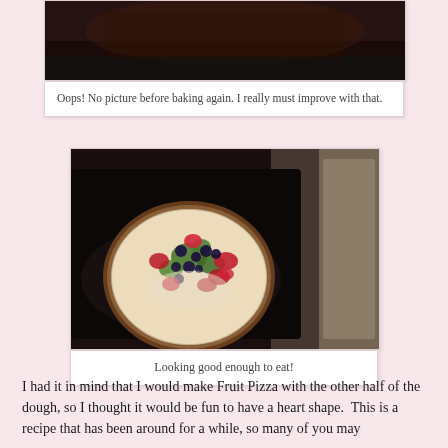[Figure (photo): Dark photo partially visible at top — food item before baking, mostly dark tones]
Oops! No picture before baking again. I really must improve with that.
[Figure (photo): Photo of a fruit pizza on a dark baking pan, topped with colorful fruits including kiwi, strawberries, and blueberries, on a cream/white base]
Looking good enough to eat!
I had it in mind that I would make Fruit Pizza with the other half of the dough, so I thought it would be fun to have a heart shape.  This is a recipe that has been around for a while, so many of you may